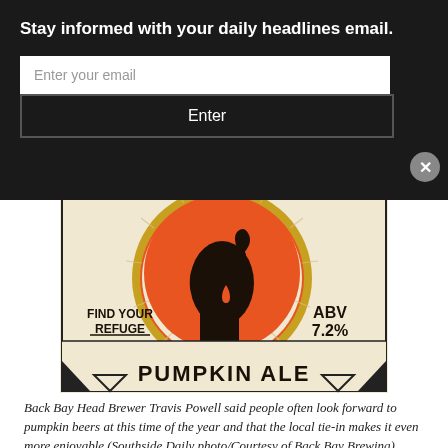Stay informed with your daily headlines email.
Enter your email
Enter
[Figure (illustration): Beer label for Pumpkin Ale showing a dark silhouette figure holding a staff against an orange circle background. Text reads: FIND YOUR REFUGE, ABV 7.2%, PUMPKIN ALE on a cream/beige background with decorative border.]
Back Bay Head Brewer Travis Powell said people often look forward to pumpkin beers at this time of the year and that the local tie-in makes it even more enjoyable (Southside Daily photo/Courtesy of Back Bay Brewing)